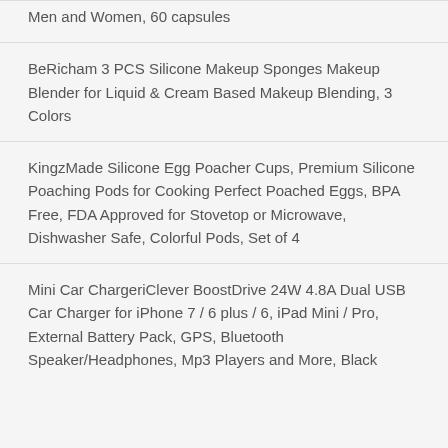Men and Women, 60 capsules
BeRicham 3 PCS Silicone Makeup Sponges Makeup Blender for Liquid & Cream Based Makeup Blending, 3 Colors
KingzMade Silicone Egg Poacher Cups, Premium Silicone Poaching Pods for Cooking Perfect Poached Eggs, BPA Free, FDA Approved for Stovetop or Microwave, Dishwasher Safe, Colorful Pods, Set of 4
Mini Car ChargeriClever BoostDrive 24W 4.8A Dual USB Car Charger for iPhone 7 / 6 plus / 6, iPad Mini / Pro, External Battery Pack, GPS, Bluetooth Speaker/Headphones, Mp3 Players and More, Black